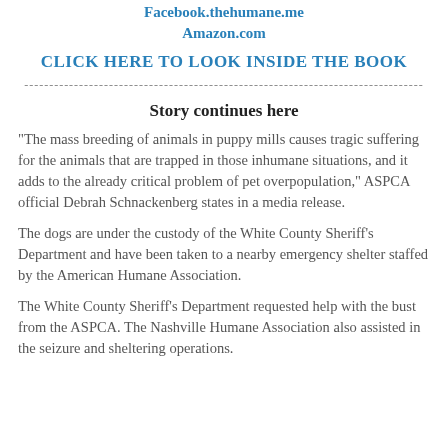Facebook.thehumane.me
Amazon.com
CLICK HERE TO LOOK INSIDE THE BOOK
--------------------------------------------------------------------------------
Story continues here
"The mass breeding of animals in puppy mills causes tragic suffering for the animals that are trapped in those inhumane situations, and it adds to the already critical problem of pet overpopulation," ASPCA official Debrah Schnackenberg states in a media release.
The dogs are under the custody of the White County Sheriff's Department and have been taken to a nearby emergency shelter staffed by the American Humane Association.
The White County Sheriff's Department requested help with the bust from the ASPCA. The Nashville Humane Association also assisted in the seizure and sheltering operations.